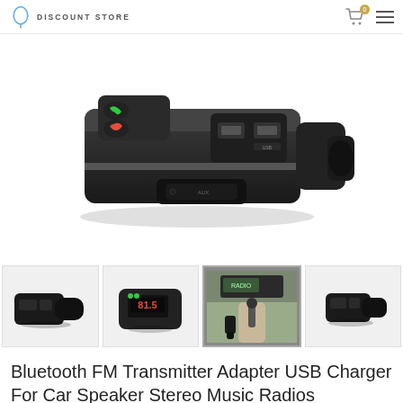DISCOUNT STORE
[Figure (photo): Close-up photo of a black Bluetooth FM Transmitter car adapter with two USB ports and call answer/end buttons on top, shown against a white background]
[Figure (photo): Thumbnail 1: Side view of the black FM transmitter adapter plugged into car lighter port]
[Figure (photo): Thumbnail 2: Front view of FM transmitter showing red LED display reading 81.5]
[Figure (photo): Thumbnail 3: FM transmitter plugged into car dashboard/center console in a real car]
[Figure (photo): Thumbnail 4: Angled side view of the FM transmitter adapter]
Bluetooth FM Transmitter Adapter USB Charger For Car Speaker Stereo Music Radios